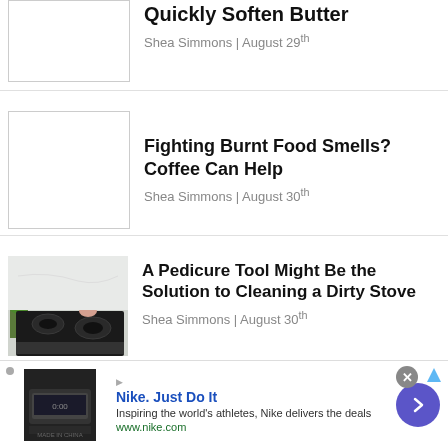[Figure (photo): Placeholder thumbnail image for article about quickly softening butter]
Quickly Soften Butter
Shea Simmons | August 29th
[Figure (photo): Placeholder thumbnail image for article about fighting burnt food smells with coffee]
Fighting Burnt Food Smells? Coffee Can Help
Shea Simmons | August 30th
[Figure (photo): Photo of a hand reaching over a black gas stove top in a white kitchen with a green plant in the background]
A Pedicure Tool Might Be the Solution to Cleaning a Dirty Stove
Shea Simmons | August 30th
Nike. Just Do It
Inspiring the world's athletes, Nike delivers the deals
www.nike.com